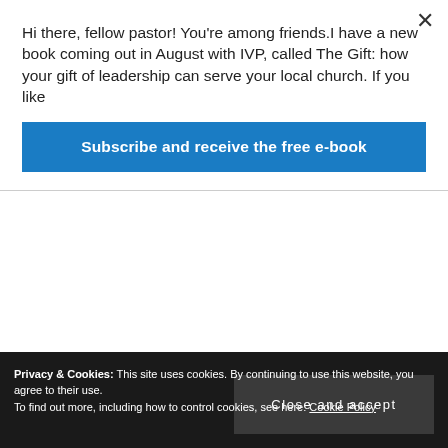Hi there, fellow pastor! You're among friends.I have a new book coming out in August with IVP, called The Gift: how your gift of leadership can serve your local church. If you like
Subscribe and receive the free e-book
work. I don't permit the re-posting of my posts in their entirety, and I don't allow the translation and publication of my work in other languages, because I can't check the quality of the work. If you have some use for my content that is not covered here, please
Privacy & Cookies: This site uses cookies. By continuing to use this website, you agree to their use.
To find out more, including how to control cookies, see here: Cookie Policy
Close and accept